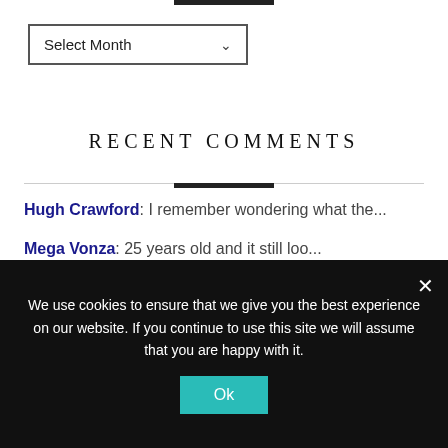[Figure (screenshot): Top black bar decoration]
Select Month dropdown UI control
RECENT COMMENTS
Hugh Crawford: I remember wondering what the...
Mega Vonza: 25 years old and it still loo...
David Sanborn: I'm a W126 person myself, but ...
Hugh Crawford: I was thinking more grandma�...
Hugh Crawford: Oh my! Wonder what the runnin...
We use cookies to ensure that we give you the best experience on our website. If you continue to use this site we will assume that you are happy with it.